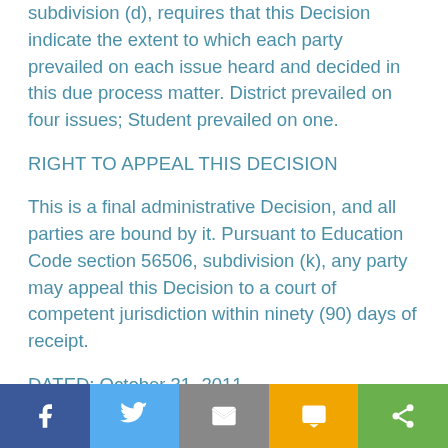subdivision (d), requires that this Decision indicate the extent to which each party prevailed on each issue heard and decided in this due process matter. District prevailed on four issues; Student prevailed on one.
RIGHT TO APPEAL THIS DECISION
This is a final administrative Decision, and all parties are bound by it. Pursuant to Education Code section 56506, subdivision (k), any party may appeal this Decision to a court of competent jurisdiction within ninety (90) days of receipt.
DATED: October 31, 2011
[Figure (infographic): Social sharing footer bar with five buttons: Facebook (blue), Twitter (light blue), Email (gray), SMS (yellow/orange), Share (green)]